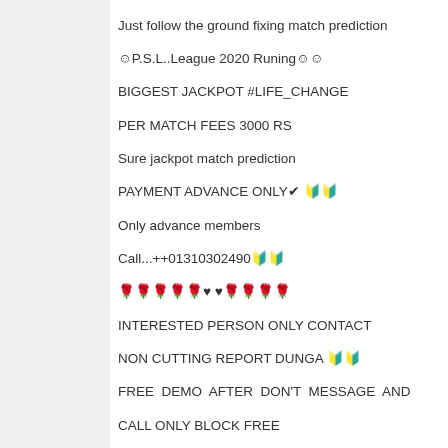Just follow the ground fixing match prediction ☺P.S.L..League 2020 Runing☺☺ BIGGEST JACKPOT #LIFE_CHANGE PER MATCH FEES 3000 RS Sure jackpot match prediction PAYMENT ADVANCE ONLY✔ 🔰🔰 Only advance members Call...++01310302490🔰🔰 🌹🌹🌹🌹🌹♥♥🌹🌹🌹🌹 INTERESTED PERSON ONLY CONTACT NON CUTTING REPORT DUNGA 🔰🔰 FREE DEMO AFTER DON'T MESSAGE AND CALL ONLY BLOCK FREE LIFE CHANGING JACKPOT #FULL_HAPPY_TODAY☺☺☺☺ #DONT_BELIEVE_ME🙏🙏🙏🙏 #BELIEVE_ON_MAY_WORK 🌹🌹🌹🌹🌹 wahatapp..imocall 🔰🔰01310302490
Unknown August 17, 2020